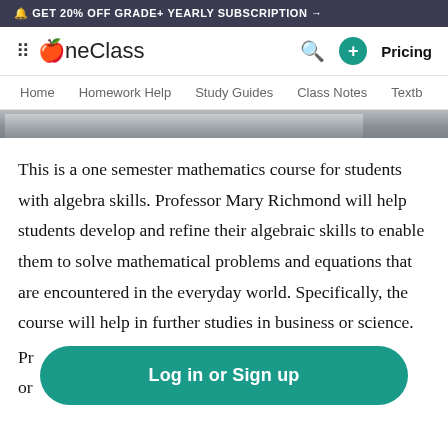🔔 GET 20% OFF GRADE+ YEARLY SUBSCRIPTION →
⠿ OneClass  🔍  +  Pricing
Home  Homework Help  Study Guides  Class Notes  Textb
[Figure (photo): Partial image of a metallic or gray surface, cropped at top of content area]
This is a one semester mathematics course for students with algebra skills. Professor Mary Richmond will help students develop and refine their algebraic skills to enable them to solve mathematical problems and equations that are encountered in the everyday world. Specifically, the course will help in further studies in business or science.
Pr                                                                                    )
or
Log in or Sign up